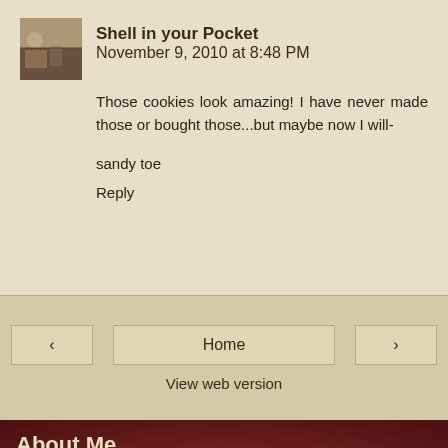Shell in your Pocket  November 9, 2010 at 8:48 PM
Those cookies look amazing! I have never made those or bought those...but maybe now I will-
sandy toe
Reply
< Home > View web version
About Me
The Cutting Edge of Ordinary